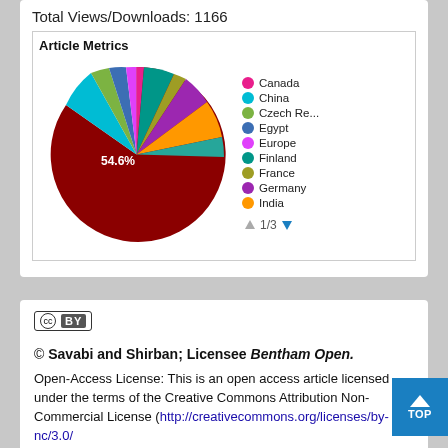Total Views/Downloads: 1166
[Figure (pie-chart): Pie chart showing article metrics by country. Largest slice is 54.6% (dark red). Legend shows Canada, China, Czech Re..., Egypt, Europe, Finland, France, Germany, India. Page 1/3 navigation shown.]
[Figure (logo): Creative Commons CC BY badge]
© Savabi and Shirban; Licensee Bentham Open.
Open-Access License: This is an open access article licensed under the terms of the Creative Commons Attribution Non-Commercial License (http://creativecommons.org/licenses/by-nc/3.0/) which permits unrestricted...